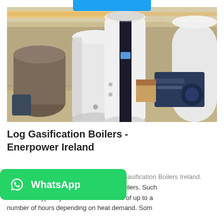[Figure (photo): Industrial warehouse with large white cylindrical boilers and equipment, including a prominent white and black log gasification boiler in the foreground.]
Log Gasification Boilers - Enerpower Ireland
[Figure (logo): WhatsApp button with green background, WhatsApp icon and 'WhatsApp' text in white.]
g Gasification Boilers Ireland. Seasoned wood logs can be burned in boilers. Such boilers are typically batch fed at intervals of up to a number of hours depending on heat demand. Som